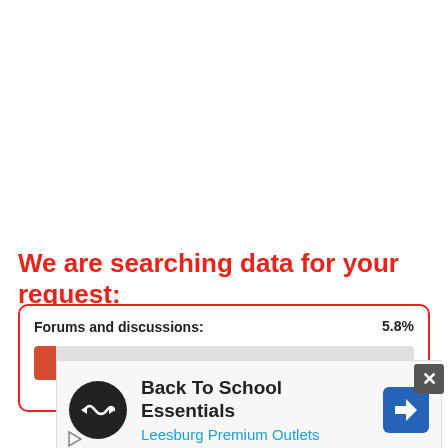We are searching data for your request:
[Figure (screenshot): Progress bar showing Forums and discussions: 5.8% with red fill on grey background inside red-bordered rounded box]
[Figure (screenshot): Advertisement banner for Back To School Essentials at Leesburg Premium Outlets with circular logo icon and blue navigation arrow icon]